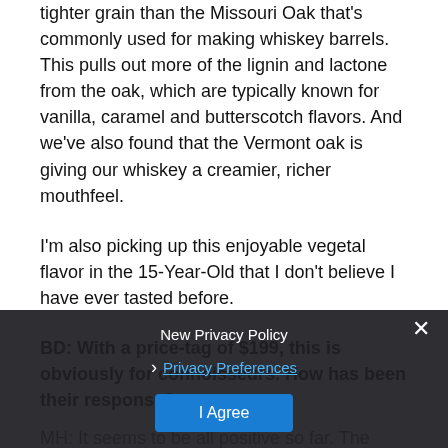tighter grain than the Missouri Oak that's commonly used for making whiskey barrels. This pulls out more of the lignin and lactone from the oak, which are typically known for vanilla, caramel and butterscotch flavors. And we've also found that the Vermont oak is giving our whiskey a creamier, richer mouthfeel.
I'm also picking up this enjoyable vegetal flavor in the 15-Year-Old that I don't believe I have ever tasted before.
BD: With a price-tag of $199, this is obviously for connoisseurs. How has been their response?
MH: It seems to be all positive so far. The connoisseurs are truly interested in the Vermont-oak aging.
Sometimes people do ask about the price tag. But aging whiskey for 10-plus years isn't easy or cheap. There's also not a whole lot out there anymore at that age. So I think the
New Privacy Policy
Privacy Preferences
I Agree